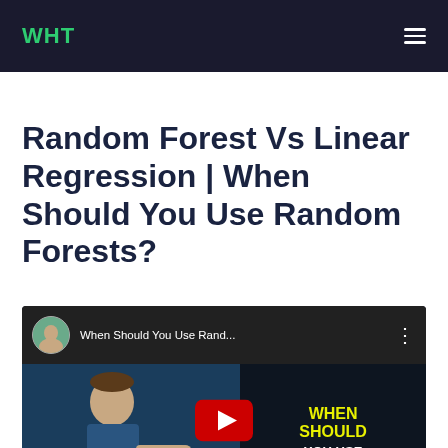WHT
Random Forest Vs Linear Regression | When Should You Use Random Forests?
[Figure (screenshot): YouTube video thumbnail/embed showing a man pointing, with text overlay 'When Should You Use Rand...' and YouTube play button. Right side shows bold yellow text 'WHEN SHOULD' on dark background.]